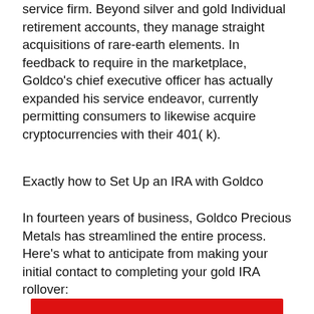service firm. Beyond silver and gold Individual retirement accounts, they manage straight acquisitions of rare-earth elements. In feedback to require in the marketplace, Goldco's chief executive officer has actually expanded his service endeavor, currently permitting consumers to likewise acquire cryptocurrencies with their 401( k).
Exactly how to Set Up an IRA with Goldco
In fourteen years of business, Goldco Precious Metals has streamlined the entire process. Here's what to anticipate from making your initial contact to completing your gold IRA rollover:
[Figure (other): Red bar/button element at the bottom of the page]